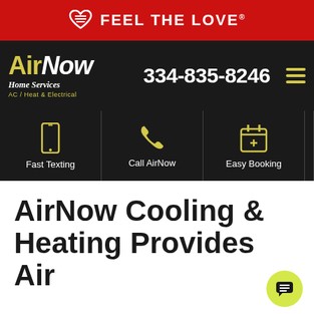❤ FEEL THE LOVE
[Figure (logo): AirNow Home Services logo with AC / Heat & Electrical tagline, alongside phone number 334-835-8246 and hamburger menu icon]
[Figure (infographic): Three icon buttons: Fast Texting (mobile phone icon), Call AirNow (phone icon), Easy Booking (calendar icon)]
AirNow Cooling & Heating Provides Air